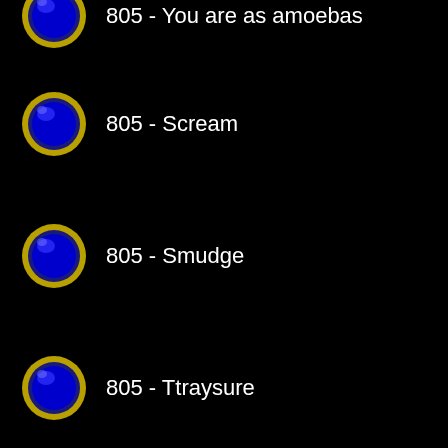805 - You are as amoebas
805 - Scream
805 - Smudge
805 - Ttraysure
806 - Sleep!
807 - Observer sound
809 - Jump up my butt
809 - Kill me now
810 - MRxL